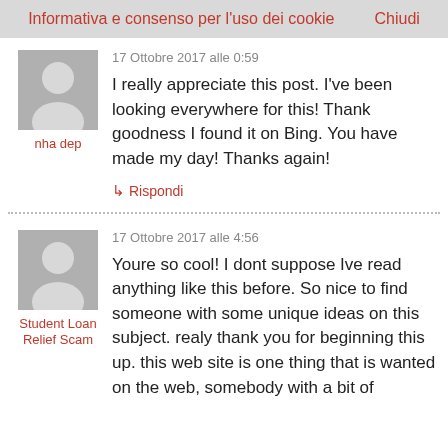Informativa e consenso per l'uso dei cookie   Chiudi
17 Ottobre 2017 alle 0:59
I really appreciate this post. I've been looking everywhere for this! Thank goodness I found it on Bing. You have made my day! Thanks again!
↳ Rispondi
nha dep
17 Ottobre 2017 alle 4:56
Youre so cool! I dont suppose Ive read anything like this before. So nice to find someone with some unique ideas on this subject. realy thank you for beginning this up. this web site is one thing that is wanted on the web, somebody with a bit of
Student Loan Relief Scam